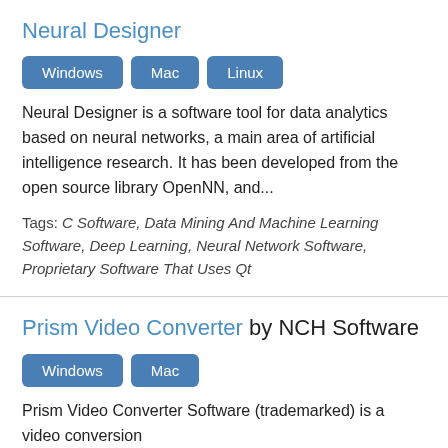Neural Designer
Windows
Mac
Linux
Neural Designer is a software tool for data analytics based on neural networks, a main area of artificial intelligence research. It has been developed from the open source library OpenNN, and...
Tags: C Software, Data Mining And Machine Learning Software, Deep Learning, Neural Network Software, Proprietary Software That Uses Qt
Prism Video Converter by NCH Software
Windows
Mac
Prism Video Converter Software (trademarked) is a video conversion